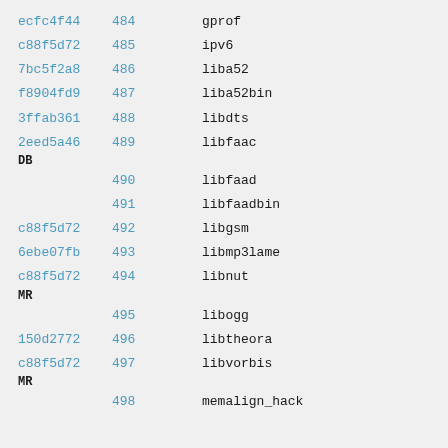| hash | num | name |
| --- | --- | --- |
| ecfc4f44 | 484 | gprof |
| c88f5d72 | 485 | ipv6 |
| 7bc5f2a8 | 486 | liba52 |
| f8904fd9 | 487 | liba52bin |
| 3ffab361 | 488 | libdts |
| 2eed5a46 DB | 489 | libfaac |
|  | 490 | libfaad |
|  | 491 | libfaadbin |
| c88f5d72 | 492 | libgsm |
| 6ebe07fb | 493 | libmp3lame |
| c88f5d72 MR | 494 | libnut |
|  | 495 | libogg |
| 150d2772 | 496 | libtheora |
| c88f5d72 MR | 497 | libvorbis |
|  | 498 | memalign_hack |